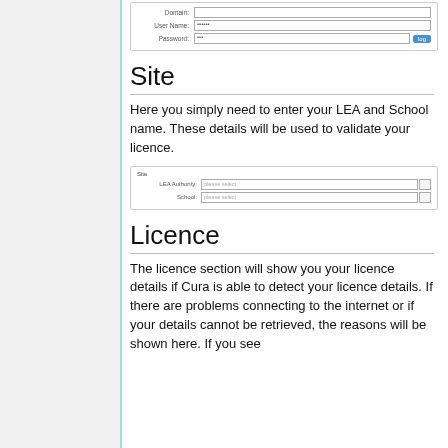[Figure (screenshot): Form screenshot showing fields: Domain, User Name (filled with dots), Password (filled with dots) and a button]
Site
Here you simply need to enter your LEA and School name. These details will be used to validate your licence.
[Figure (screenshot): Form screenshot showing Site section with LEA Authority and School dropdown fields]
Licence
The licence section will show you your licence details if Cura is able to detect your licence details. If there are problems connecting to the internet or if your details cannot be retrieved, the reasons will be shown here. If you see